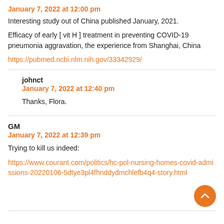January 7, 2022 at 12:00 pm
Interesting study out of China published January, 2021.
Efficacy of early [ vit H ] treatment in preventing COVID-19 pneumonia aggravation, the experience from Shanghai, China
https://pubmed.ncbi.nlm.nih.gov/33342929/
johnct
January 7, 2022 at 12:40 pm
Thanks, Flora.
GM
January 7, 2022 at 12:39 pm
Trying to kill us indeed:
https://www.courant.com/politics/hc-pol-nursing-homes-covid-admissions-20220106-5dtye3pl4fhnddydmchlefb4q4-story.html